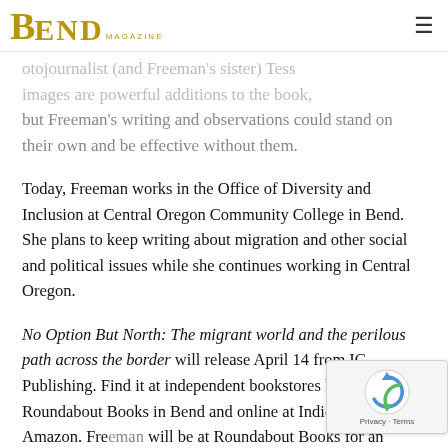Bend Magazine
otojournalist (and Freeman's sister) Tess images are powerful additions to the book, but Freeman's writing and observations could stand on their own and be effective without them.
Today, Freeman works in the Office of Diversity and Inclusion at Central Oregon Community College in Bend. She plans to keep writing about migration and other social and political issues while she continues working in Central Oregon.
No Option But North: The migrant world and the perilous path across the border will release April 14 from IG Publishing. Find it at independent bookstores like Roundabout Books in Bend and online at IndieBound and Amazon. Freeman will be at Roundabout Books for an author event Fr… May 15.